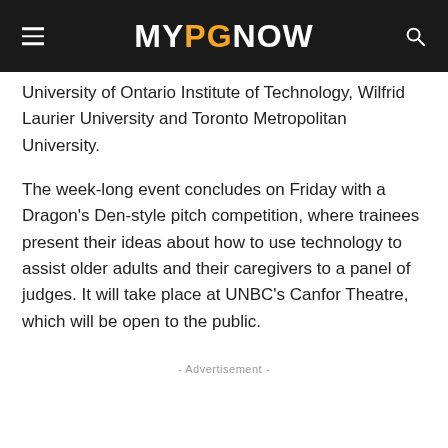MYPGNOW
University of Ontario Institute of Technology, Wilfrid Laurier University and Toronto Metropolitan University.
The week-long event concludes on Friday with a Dragon's Den-style pitch competition, where trainees present their ideas about how to use technology to assist older adults and their caregivers to a panel of judges. It will take place at UNBC's Canfor Theatre, which will be open to the public.
- Advertisement -